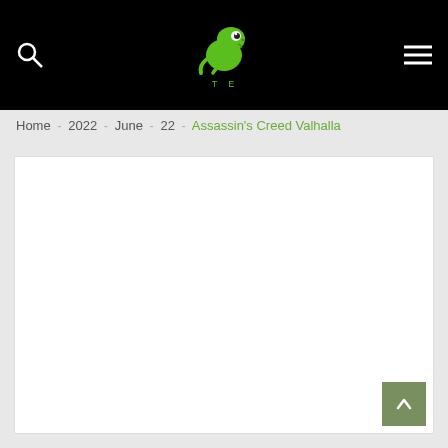Header navigation bar with search icon, logo (cartoon dinosaur/reptile), and hamburger menu
Home - 2022 - June - 22 - Assassin's Creed Valhalla
[Figure (other): White content area placeholder box]